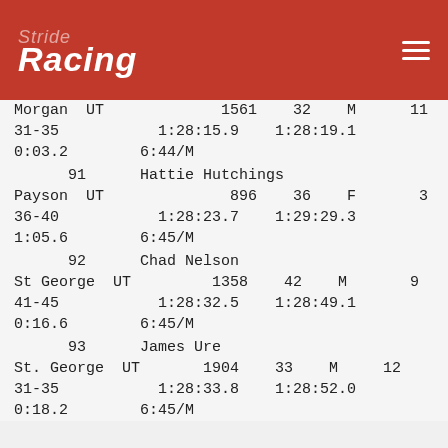Stride Racing
| Morgan | UT | 1561 | 32 | M | 11 |
| 31-35 |  | 1:28:15.9 | 1:28:19.1 |  |  |
| 0:03.2 | 6:44/M |  |  |  |  |
| 91 | Hattie Hutchings |  |  |  |  |
| Payson | UT | 896 | 36 | F | 3 |
| 36-40 |  | 1:28:23.7 | 1:29:29.3 |  |  |
| 1:05.6 | 6:45/M |  |  |  |  |
| 92 | Chad Nelson |  |  |  |  |
| St George | UT | 1358 | 42 | M | 9 |
| 41-45 |  | 1:28:32.5 | 1:28:49.1 |  |  |
| 0:16.6 | 6:45/M |  |  |  |  |
| 93 | James Ure |  |  |  |  |
| St. George | UT | 1904 | 33 | M | 12 |
| 31-35 |  | 1:28:33.8 | 1:28:52.0 |  |  |
| 0:18.2 | 6:45/M |  |  |  |  |